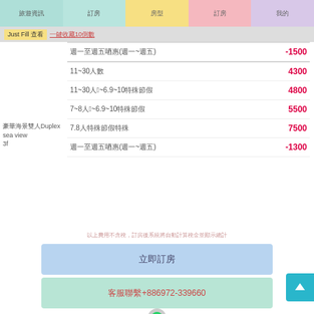nav bar with items: 旅遊資訊, 訂房, 房型, 訂房, 我的
Just Fill 查看 一鍵收藏10倒數
週一至週五優惠(週一~週五) -1500
豪華海景雙人Duplex sea view 3f
| 房型/條件 | 價格 |
| --- | --- |
| 11~30人數 | 4300 |
| 11~30人數4~6.9~10特殊節假 | 4800 |
| 7~8人數4~6.9~10特殊節假 | 5500 |
| 7.8人數特殊節假特殊 | 7500 |
| 週一至週五優惠(週一~週五) | -1300 |
以上費用不含稅，訂房後系統將自動計算稅金並顯示總計
立即訂房
客服聯繫+886972-339660